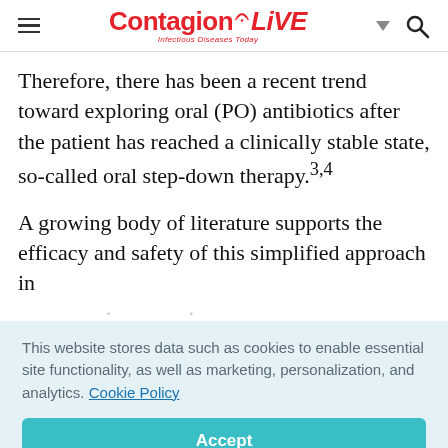ContagionLive — Infectious Diseases Today
Therefore, there has been a recent trend toward exploring oral (PO) antibiotics after the patient has reached a clinically stable state, so-called oral step-down therapy.3,4
A growing body of literature supports the efficacy and safety of this simplified approach in
This website stores data such as cookies to enable essential site functionality, as well as marketing, personalization, and analytics. Cookie Policy
Accept
Deny